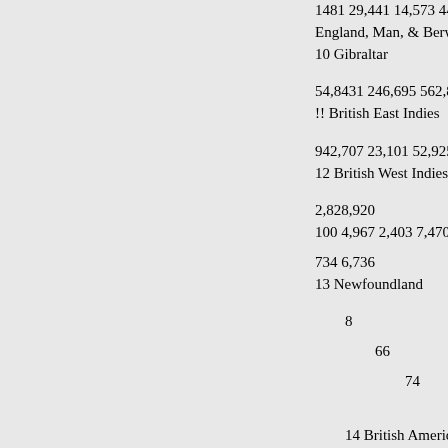1481 29,441 14,573 44,162 44,1...
England, Man, & Berwick 259,1...
10 Gibraltar
54,8431 246,695 562,849 864,38...
!! British East Indies
942,707 23,101 52,925 1,018,73...
12 British West Indies
2,828,920
100 4,967 2,403 7,470
734 6,736
13 Newfoundland
8
66
74
14 British American Coloni...
15 Hanse Towns and Ports o... Germany
62,648 110,738 1,145,828 1,319,...
16 French Ports on the At.